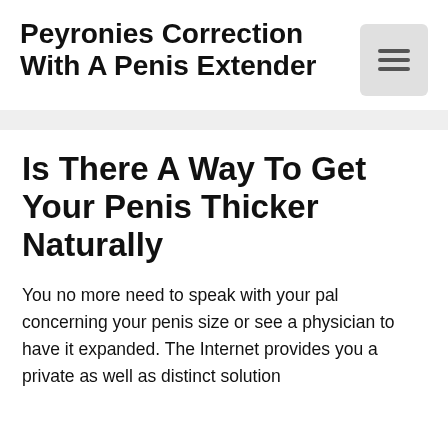Peyronies Correction With A Penis Extender
Is There A Way To Get Your Penis Thicker Naturally
You no more need to speak with your pal concerning your penis size or see a physician to have it expanded. The Internet provides you a private as well as distinct solution